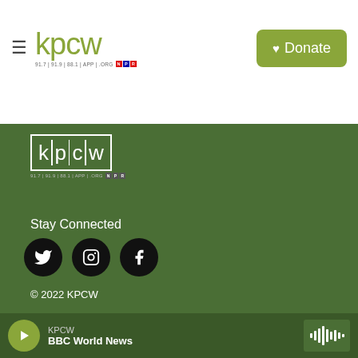[Figure (logo): KPCW radio station logo with hamburger menu icon, green stylized 'kpcw' wordmark, frequency tagline '91.7 | 91.9 | 88.1 | APP | .ORG' and NPR badge]
[Figure (other): Green Donate button with heart icon]
[Figure (logo): KPCW white logo on green footer background, boxed letters k|p|c|w with tagline and NPR badge]
Stay Connected
[Figure (illustration): Three circular black social media icons: Twitter bird, Instagram camera, Facebook f]
© 2022 KPCW
KPCW
Spencer F. Eccles Broadcast Center
[Figure (other): Audio player bar at bottom: green play button, KPCW station label, BBC World News show title, waveform icon]